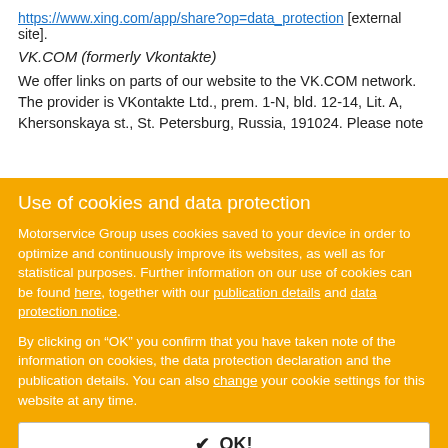https://www.xing.com/app/share?op=data_protection [external site].
VK.COM (formerly Vkontakte)
We offer links on parts of our website to the VK.COM network. The provider is VKontakte Ltd., prem. 1-N, bld. 12-14, Lit. A, Khersonskaya st., St. Petersburg, Russia, 191024. Please note
Use of cookies and data protection
Motorservice Group uses cookies saved to your device in order to optimize and continuously improve its websites, as well as for statistical purposes. Further information on our use of cookies can be found here, together with our publication details and data protection notice.
By clicking on “OK” you confirm that you have taken note of the information on cookies, the data protection declaration and the publication details. You can also change your cookie settings for this website at any time.
✔ OK!
I have read and taken note of this information.